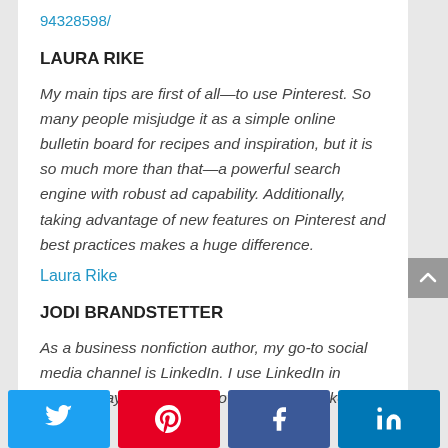94328598/
LAURA RIKE
My main tips are first of all—to use Pinterest. So many people misjudge it as a simple online bulletin board for recipes and inspiration, but it is so much more than that—a powerful search engine with robust ad capability. Additionally, taking advantage of new features on Pinterest and best practices makes a huge difference.
Laura Rike
JODI BRANDSTETTER
As a business nonfiction author, my go-to social media channel is LinkedIn. I use LinkedIn in several ways. Here are two ways I use LinkedIn.
[Figure (infographic): Social share buttons bar: Twitter (blue), Pinterest (red), Facebook (dark blue), LinkedIn (teal)]